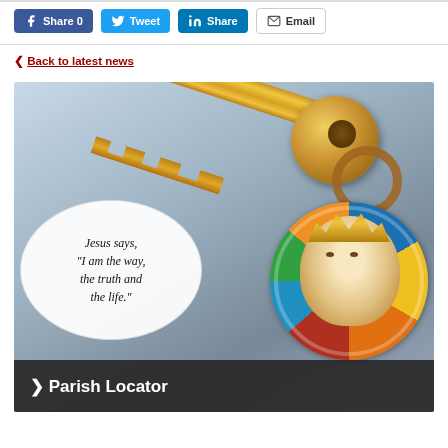[Figure (infographic): Social sharing buttons: Facebook Share 0, Twitter Tweet, LinkedIn Share, Email]
< Back to latest news
[Figure (photo): Photo of keychains on a surface: a golden key on a keyring, a white oval keychain tag reading 'Jesus says, "I am the way, the truth and the life."', and a round stained-glass style keychain depicting a religious figure with crown. A dark banner overlay at the bottom reads '> Parish Locator'.]
> Parish Locator